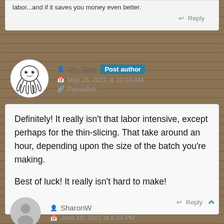labor...and if it saves you money even better.
Reply
Mr. Tako  Post author
May 15, 2021 at 10:03 AM
Permalink
Definitely! It really isn’t that labor intensive, except perhaps for the thin-slicing. That take around an hour, depending upon the size of the batch you’re making.

Best of luck! It really isn’t hard to make!
Reply
SharonW
June 18, 2021 at 6:45 PM